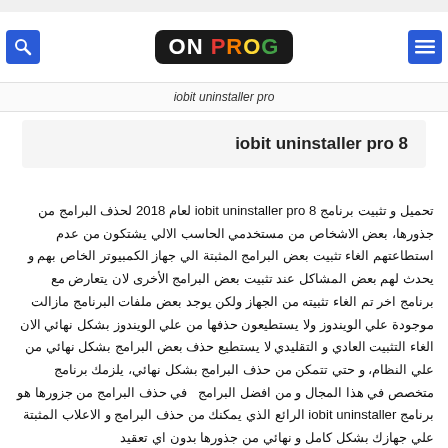ON PROG — iobit uninstaller pro
iobit uninstaller pro 8
تحميل و تثبيت برنامج iobit uninstaller pro 8 لعام 2018 لحذف البرامج من جذورها، بعض الاشخاص من مستخدمي الحاسب الالي يشتكون من عدم استطاعتهم الغاء تثبيت بعض البرامج المثبتة الي جهاز الكمبيوتر الخاص بهم و يحدث لهم بعض المشاكل عند تثبيت بعض البرامج الأخرى لان يتعارض مع برنامج اخر تم الغاء تثبيته من الجهاز ولكن يوجد بعض ملفات البرنامج مازالت موجودة علي الويندوز ولا يستطيعون حذفها من علي الويندوز بشكل نهائي الان الغاء التثبيت العادي و التقليدي لا يستطيع حذف بعض البرامج بشكل نهائي من علي النظام، و حتي تتمكن من حذف البرامج بشكل نهائي، يلزمك برنامج متخصص في هذا المجال و من افضل البرامج في حذف البرامج من جزورها هو برنامج iobit uninstaller الرائع الذي يمكنك من حذف البرامج و الاعلاب المثبتة علي جهازك بشكل كامل و نهائي من جذورها بدون اي تعقيد